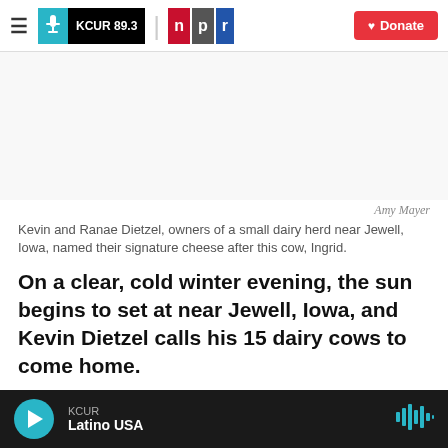KCUR 89.3 | npr | Donate
[Figure (photo): Blank/white image area where a photo of a cow (Ingrid) would appear]
Amy Mayer
Kevin and Ranae Dietzel, owners of a small dairy herd near Jewell, Iowa, named their signature cheese after this cow, Ingrid.
On a clear, cold winter evening, the sun begins to set at near Jewell, Iowa, and Kevin Dietzel calls his 15 dairy cows to come home.
KCUR — Latino USA